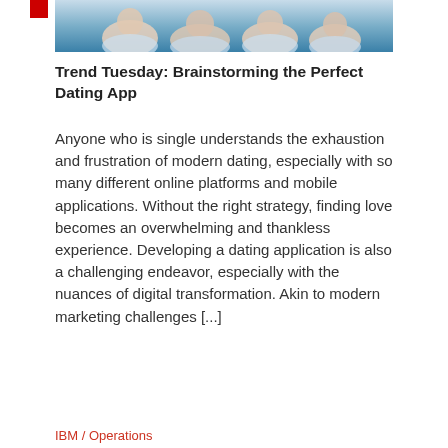[Figure (photo): Cropped photo of a group of people (likely professionals or medical staff) wearing light blue/white clothing, shown from chest up, with a blue gradient background]
Trend Tuesday: Brainstorming the Perfect Dating App
Anyone who is single understands the exhaustion and frustration of modern dating, especially with so many different online platforms and mobile applications. Without the right strategy, finding love becomes an overwhelming and thankless experience. Developing a dating application is also a challenging endeavor, especially with the nuances of digital transformation. Akin to modern marketing challenges [...]
IBM / Operations